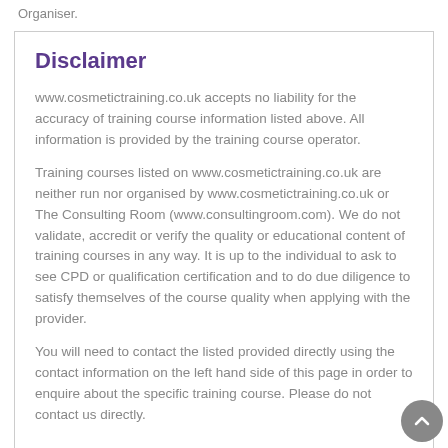Organiser.
Disclaimer
www.cosmetictraining.co.uk accepts no liability for the accuracy of training course information listed above. All information is provided by the training course operator.
Training courses listed on www.cosmetictraining.co.uk are neither run nor organised by www.cosmetictraining.co.uk or The Consulting Room (www.consultingroom.com). We do not validate, accredit or verify the quality or educational content of training courses in any way. It is up to the individual to ask to see CPD or qualification certification and to do due diligence to satisfy themselves of the course quality when applying with the provider.
You will need to contact the listed provided directly using the contact information on the left hand side of this page in order to enquire about the specific training course. Please do not contact us directly.